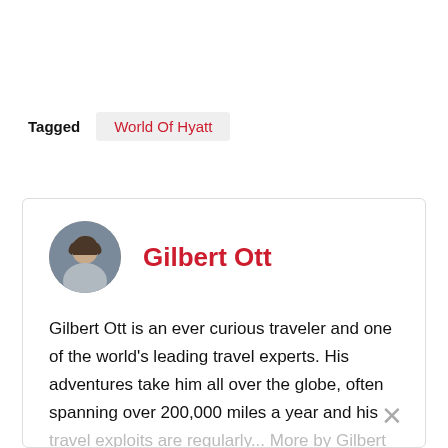Tagged   World Of Hyatt
Gilbert Ott
Gilbert Ott is an ever curious traveler and one of the world's leading travel experts. His adventures take him all over the globe, often spanning over 200,000 miles a year and his travel exploits are regularly... More by Gilbert Ott